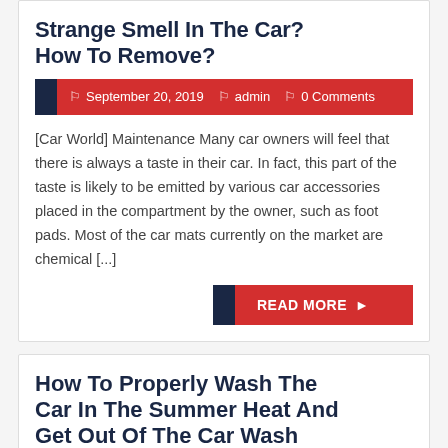Strange Smell In The Car? How To Remove?
September 20, 2019   admin   0 Comments
[Car World] Maintenance Many car owners will feel that there is always a taste in their car. In fact, this part of the taste is likely to be emitted by various car accessories placed in the compartment by the owner, such as foot pads. Most of the car mats currently on the market are chemical [...]
READ MORE
How To Properly Wash The Car In The Summer Heat And Get Out Of The Car Wash